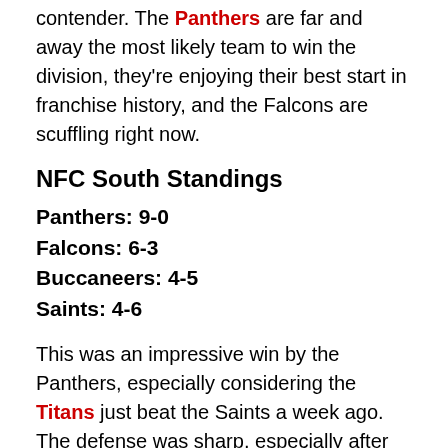contender. The Panthers are far and away the most likely team to win the division, they're enjoying their best start in franchise history, and the Falcons are scuffling right now.
NFC South Standings
Panthers: 9-0
Falcons: 6-3
Buccaneers: 4-5
Saints: 4-6
This was an impressive win by the Panthers, especially considering the Titans just beat the Saints a week ago. The defense was sharp, especially after the first half, and Cam Newton played one of his best games of the season. Who knows what their ultimate destination is this season, and what this team is going to look like in 2016, but...